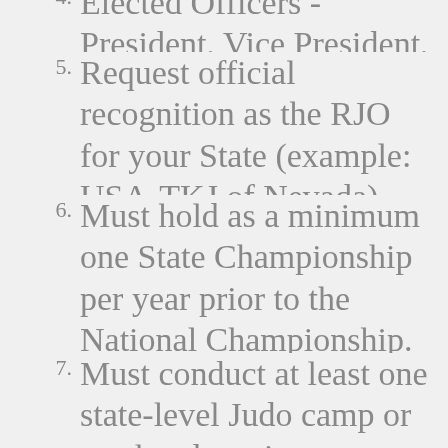4. Elected Officers - President, Vice President, Treasurer & Secretary.
5. Request official recognition as the RJO for your State (example: USA-TKJ of Nevada) from the USA-TKJ National Office.
6. Must hold as a minimum one State Championship per year prior to the National Championship.
7. Must conduct at least one state-level Judo camp or weekend seminar per year.
8. Set up a State Promotion Board for USA-TKJ Rank testing and validation with at least two Testing Clinics per year.